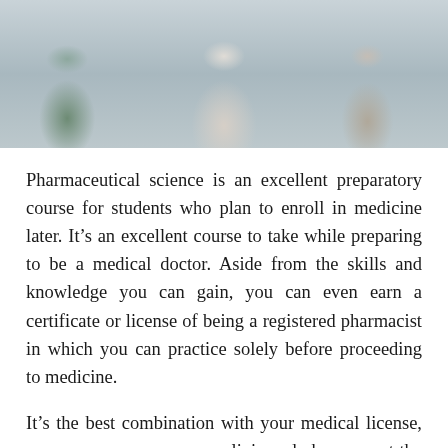[Figure (photo): A group of people including someone in a white coat (medical/pharmacy setting), seated, photographed from a slightly elevated angle. Image appears muted/faded.]
Pharmaceutical science is an excellent preparatory course for students who plan to enroll in medicine later. It's an excellent course to take while preparing to be a medical doctor. Aside from the skills and knowledge you can gain, you can even earn a certificate or license of being a registered pharmacist in which you can practice solely before proceeding to medicine.
It's the best combination with your medical license, so you open up your own clinic and pharmacy at the same time. It's indeed hitting two birds with one stone, increasing your earning potential even more.